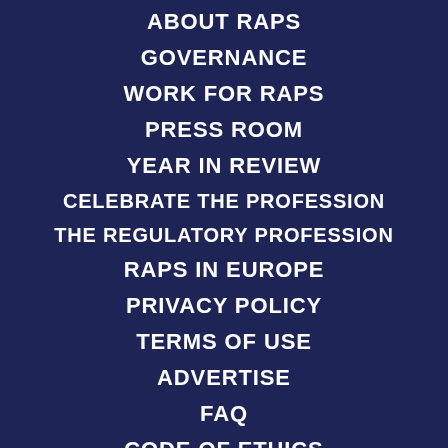ABOUT RAPS
GOVERNANCE
WORK FOR RAPS
PRESS ROOM
YEAR IN REVIEW
CELEBRATE THE PROFESSION
THE REGULATORY PROFESSION
RAPS IN EUROPE
PRIVACY POLICY
TERMS OF USE
ADVERTISE
FAQ
CODE OF ETHICS
CALL FOR AUTHORS